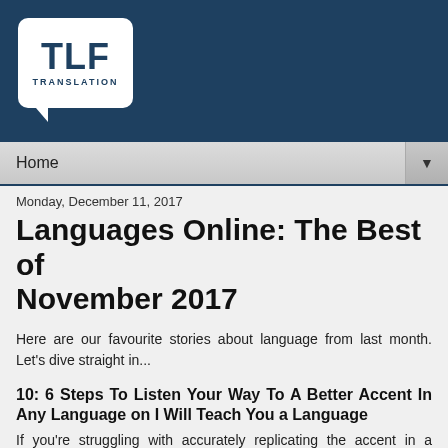[Figure (logo): TLF Translation logo — white rounded speech bubble with 'TLF' in large bold dark blue text and 'TRANSLATION' in small caps below, on a dark navy blue banner background]
Home ▼
Monday, December 11, 2017
Languages Online: The Best of November 2017
Here are our favourite stories about language from last month. Let's dive straight in...
10: 6 Steps To Listen Your Way To A Better Accent In Any Language on I Will Teach You a Language
If you're struggling with accurately replicating the accent in a foreign language, this article has some great tips with